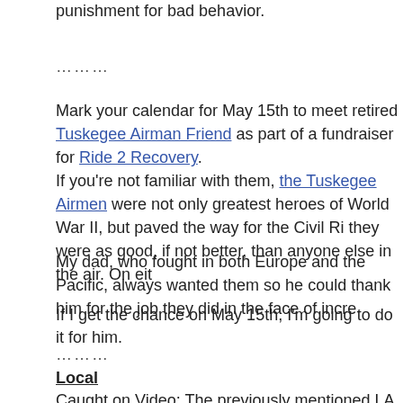punishment for bad behavior.
………
Mark your calendar for May 15th to meet retired Tuskegee Airman Friend as part of a fundraiser for Ride 2 Recovery.
If you're not familiar with them, the Tuskegee Airmen were not only greatest heroes of World War II, but paved the way for the Civil Ri they were as good, if not better, than anyone else in the air. On eit
My dad, who fought in both Europe and the Pacific, always wanted them so he could thank him for the job they did in the face of incre
If I get the chance on May 15th, I'm going to do it for him.
………
Local
Caught on Video: The previously mentioned LA Councilmember Jo with the LACBC to distribute bike lights through Operation Firefly.
Metro's presentation from the recent Bicycle Roundtable is now av